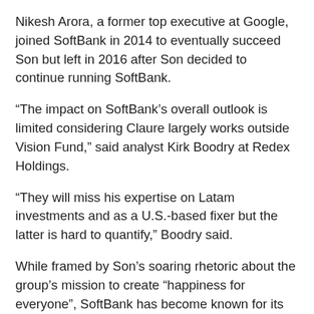Nikesh Arora, a former top executive at Google, joined SoftBank in 2014 to eventually succeed Son but left in 2016 after Son decided to continue running SoftBank.
“The impact on SoftBank’s overall outlook is limited considering Claure largely works outside Vision Fund,” said analyst Kirk Boodry at Redex Holdings.
“They will miss his expertise on Latam investments and as a U.S.-based fixer but the latter is hard to quantify,” Boodry said.
While framed by Son’s soaring rhetoric about the group’s mission to create “happiness for everyone”, SoftBank has become known for its thrusting deal making and workplace politics as its investors scramble for position.
Claure’s exit adds to a string of top-level departures from SoftBank over the past few years including Deep Nishar and Jeff Housenbold from the Vision Fund, with the latter leaving for compensation reasons.